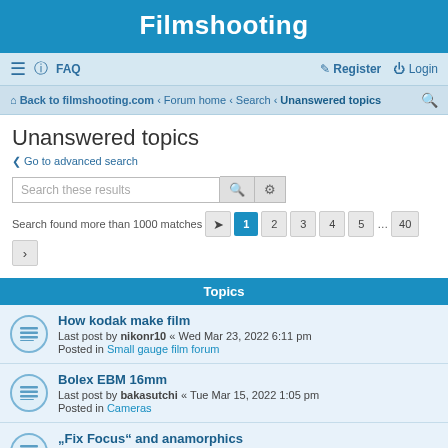Filmshooting
≡  FAQ    Register  Login
Back to filmshooting.com · Forum home · Search · Unanswered topics
Unanswered topics
< Go to advanced search
Search these results
Search found more than 1000 matches  1 2 3 4 5 ... 40 >
Topics
How kodak make film
Last post by nikonr10 « Wed Mar 23, 2022 6:11 pm
Posted in Small gauge film forum
Bolex EBM 16mm
Last post by bakasutchi « Tue Mar 15, 2022 1:05 pm
Posted in Cameras
"Fix Focus" and anamorphics
Last post by jpolzfuss « Fri Mar 04, 2022 8:55 am
Posted in Cameras
Revue Super 8-Pocket L manual
Last post by ...